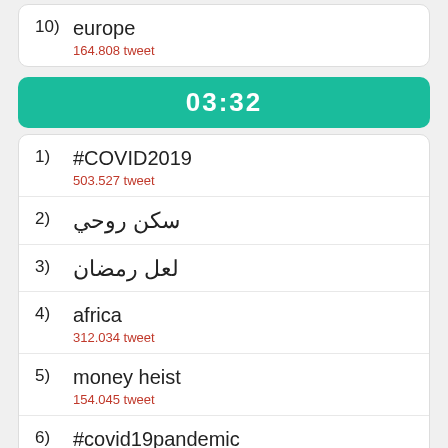10) europe
164.808 tweet
03:32
1) #COVID2019
503.527 tweet
2) سكن روحي
3) لعل رمضان
4) africa
312.034 tweet
5) money heist
154.045 tweet
6) #covid19pandemic
112.946 tweet
7) #stayhomesavelives
150.197 tweet